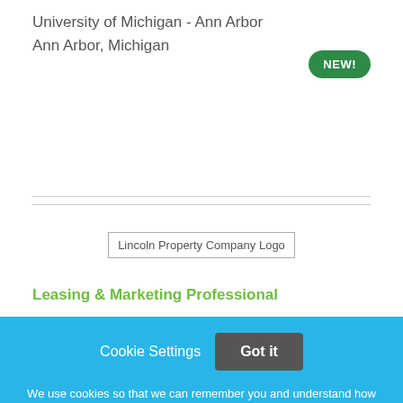University of Michigan - Ann Arbor
Ann Arbor, Michigan
[Figure (logo): Lincoln Property Company Logo]
Leasing & Marketing Professional
Cookie Settings   Got it
We use cookies so that we can remember you and understand how you use our site. If you do not agree with our use of cookies, please change the current settings found in our Cookie Policy. Otherwise, you agree to the use of the cookies as they are currently set.